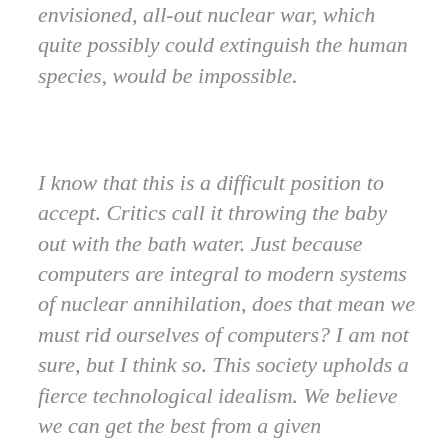envisioned, all-out nuclear war, which quite possibly could extinguish the human species, would be impossible.
I know that this is a difficult position to accept. Critics call it throwing the baby out with the bath water. Just because computers are integral to modern systems of nuclear annihilation, does that mean we must rid ourselves of computers? I am not sure, but I think so. This society upholds a fierce technological idealism. We believe we can get the best from a given technology without falling into worst-case scenarios of the sort described above. We maintain this idealism